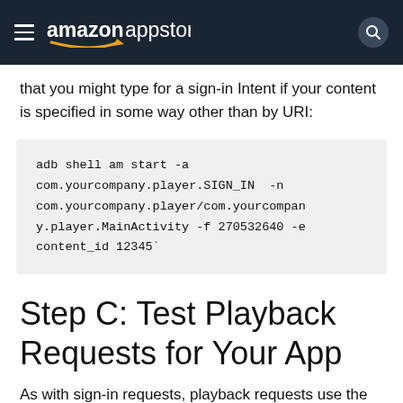amazon appstore
that you might type for a sign-in Intent if your content is specified in some way other than by URI:
Step C: Test Playback Requests for Your App
As with sign-in requests, playback requests use the data you supply to the launcher during the